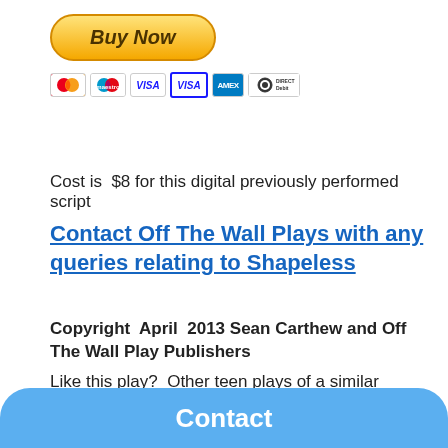[Figure (other): Buy Now PayPal button with payment card icons (Mastercard, Maestro, Visa, Visa, American Express, Direct Debit)]
Cost is  $8 for this digital previously performed script
Contact Off The Wall Plays with any queries relating to Shapeless
Copyright  April  2013 Sean Carthew and Off The Wall Play Publishers
Like this play?  Other teen plays of a similar genre:
Dreamtime – story about the notorious murder of two
Survivors include – play about teen suicide
Contact